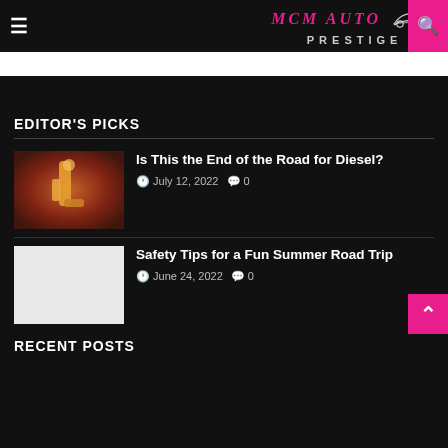MCM AUTO PRESTIGE
EDITOR'S PICKS
Is This the End of the Road for Diesel?
July 12, 2022  0
[Figure (photo): Close-up of a fuel nozzle being inserted into a fuel tank, with orange/red tones]
Safety Tips for a Fun Summer Road Trip
June 24, 2022  0
[Figure (photo): Blank/white placeholder image for article thumbnail]
RECENT POSTS